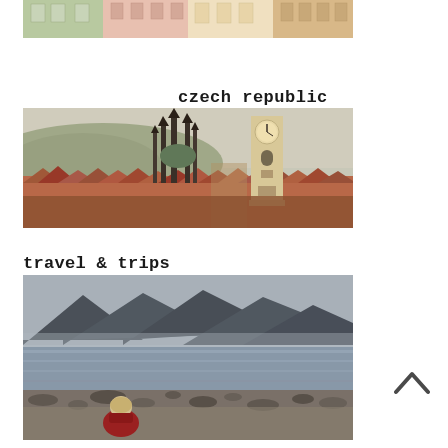[Figure (photo): Partial photo of colorful European building facades — green, pink, cream colored ornate historic buildings]
czech republic
[Figure (photo): Panoramic photo of Prague skyline featuring Gothic spires of the Church of Our Lady before Týn and the Old Town Hall clock tower, with red-tiled rooftops and a hill in the background]
travel & trips
[Figure (photo): Coastal/lakeshore landscape photo with dark mountains in the background, calm water, rocky shore, and a person with light hair wearing a red jacket sitting in the foreground facing away from camera]